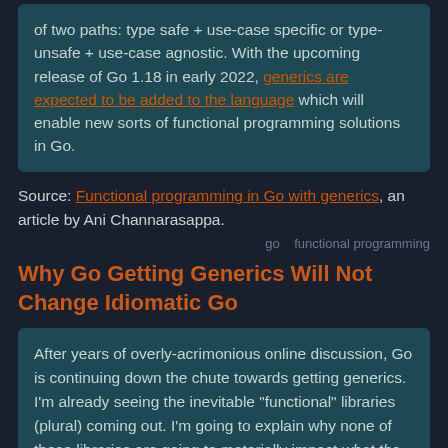of two paths: type safe + use-case specific or type-unsafe + use-case agnostic. With the upcoming release of Go 1.18 in early 2022, generics are expected to be added to the language which will enable new sorts of functional programming solutions in Go.
Source: Functional programming in Go with generics, an article by Ani Channarasappa.
go   functional programming
Why Go Getting Generics Will Not Change Idiomatic Go
After years of overly-acrimonious online discussion, Go is continuing down the chute towards getting generics. I'm already seeing the inevitable "functional" libraries (plural) coming out. I'm going to explain why none of these libraries are going to materially impact what the community considers good style.